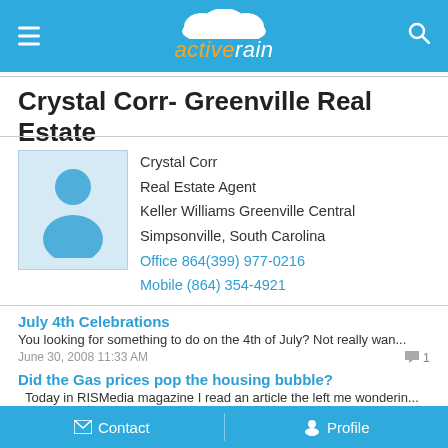activerain
Crystal Corr- Greenville Real Estate
[Figure (illustration): Generic blue silhouette avatar placeholder image]
Crystal Corr
Real Estate Agent
Keller Williams Greenville Central
Simpsonville, South Carolina
Office 864(399) 977-0216
Mobile (864) 354-4921
July 4th Celebrations
You looking for something to do on the 4th of July? Not really wan...
June 30, 2008 11:33 AM
Did the Gas prices pop the housing bubble?
Today in RISMedia magazine I read an article the left me wonderin...
June 27, 2008 05:22 AM
Taking care of who you know.
I was reading an article in RISMedia this month and it talked about...
Contact   Profile